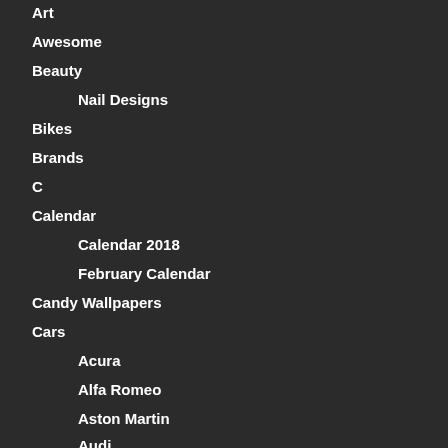Art
Awesome
Beauty
Nail Designs
Bikes
Brands
C
Calendar
Calendar 2018
February Calendar
Candy Wallpapers
Cars
Acura
Alfa Romeo
Aston Martin
Audi